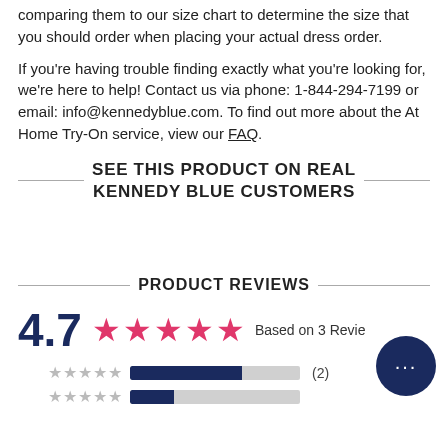comparing them to our size chart to determine the size that you should order when placing your actual dress order.
If you're having trouble finding exactly what you're looking for, we're here to help! Contact us via phone: 1-844-294-7199 or email: info@kennedyblue.com. To find out more about the At Home Try-On service, view our FAQ.
SEE THIS PRODUCT ON REAL KENNEDY BLUE CUSTOMERS
PRODUCT REVIEWS
4.7 ★★★★★ Based on 3 Reviews
★★★★★ [bar 66%] (2)
★★★★★ [bar partial]